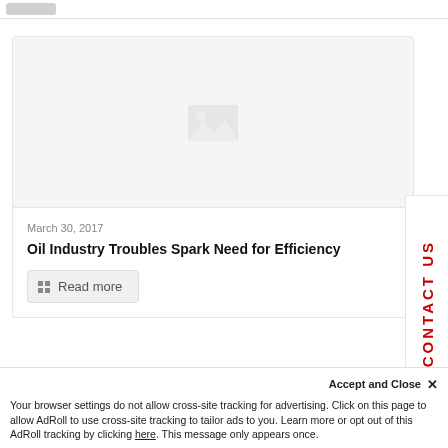[Figure (screenshot): Article card with a grey placeholder image area showing a broken image icon]
March 30, 2017
Oil Industry Troubles Spark Need for Efficiency
Read more
Leave a Reply
CONTACT US
Accept and Close ×
Your browser settings do not allow cross-site tracking for advertising. Click on this page to allow AdRoll to use cross-site tracking to tailor ads to you. Learn more or opt out of this AdRoll tracking by clicking here. This message only appears once.